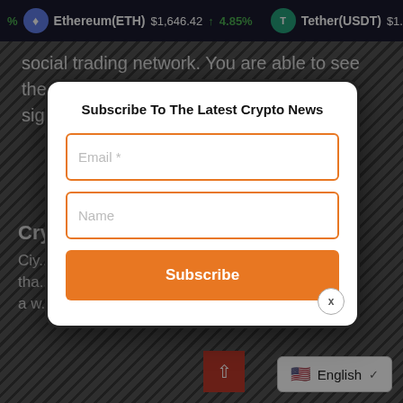% Ethereum(ETH) $1,646.42 ↑ 4.85% Tether(USDT) $1.00
social trading network. You are able to see the kind of trading track record that a signaler has, and trade your tokens with
Subscribe To The Latest Crypto News
Email *
Name
Subscribe
Cry...
Ciy... ...ner that ...or a w...
English